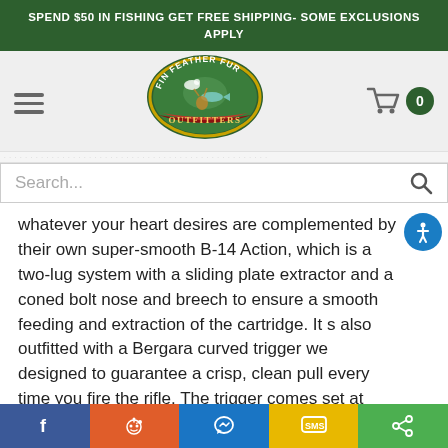SPEND $50 IN FISHING GET FREE SHIPPING- SOME EXCLUSIONS APPLY
[Figure (logo): Fin Feather Fur Outfitters circular logo with animals and red ribbon banner]
Search...
whatever your heart desires are complemented by their own super-smooth B-14 Action, which is a two-lug system with a sliding plate extractor and a coned bolt nose and breech to ensure a smooth feeding and extraction of the cartridge. It s also outfitted with a Bergara curved trigger we designed to guarantee a crisp, clean pull every time you fire the rifle. The trigger comes set at
Facebook | Reddit | Messenger | SMS | Share